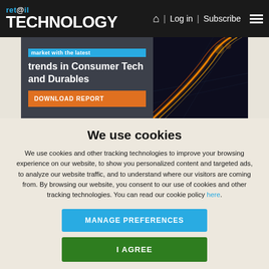ret@il TECHNOLOGY | Log in | Subscribe
[Figure (screenshot): Partial banner ad showing text 'market with the latest trends in Consumer Tech and Durables' with an orange DOWNLOAD REPORT button and a dark background with glowing orange highway light trails image on the right]
We use cookies
We use cookies and other tracking technologies to improve your browsing experience on our website, to show you personalized content and targeted ads, to analyze our website traffic, and to understand where our visitors are coming from. By browsing our website, you consent to our use of cookies and other tracking technologies. You can read our cookie policy here.
MANAGE PREFERENCES
I AGREE